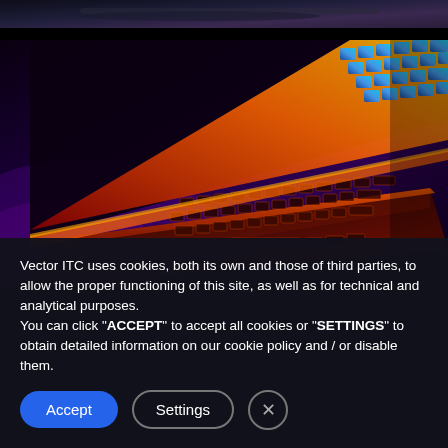[Figure (photo): Partial top edge of a dark photo, likely a vehicle or dark scene interior]
[Figure (photo): Close-up photo of a laptop with a backlit keyboard showing orange/red glow and colorful LED lights (blue, purple) on the screen hinge area, shot against a dark background]
Vector ITC uses cookies, both its own and those of third parties, to allow the proper functioning of this site, as well as for technical and analytical purposes. You can click "ACCEPT" to accept all cookies or "SETTINGS" to obtain detailed information on our cookie policy and / or disable them.
Accept
Settings